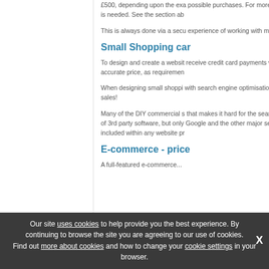£500, depending upon the exa possible purchases. For more is needed. See the section ab
This is always done via a secu experience of working with mo
Small Shopping car
To design and create a websit receive credit card payments w accurate price, as requiremen
When designing small shoppi with search engine optimisatio sales!
Many of the DIY commercial s that makes it hard for the sear of 3rd party software, but only Google and the other major se included within any website pr
E-commerce - price
A full-featured e-commerce...
Our site uses cookies to help provide you the best experience. By continuing to browse the site you are agreeing to our use of cookies. Find out more about cookies and how to change your cookie settings in your browser.